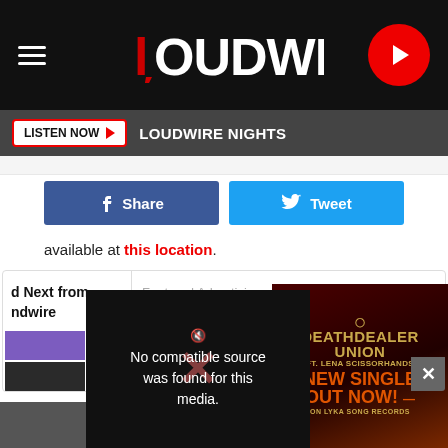LOUDWIRE
LISTEN NOW   LOUDWIRE NIGHTS
f Share   Tweet
available at this location.
d Next from
ndwire
Featured Advertising
[Figure (screenshot): Video player showing error: No compatible source was found for this media.]
[Figure (advertisement): Death Dealer Union ft. Lena Scissorhands - New Single Out Now! On Lyka Song Records ad banner]
Members